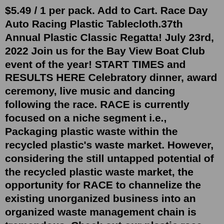$5.49 / 1 per pack. Add to Cart. Race Day Auto Racing Plastic Tablecloth.37th Annual Plastic Classic Regatta! July 23rd, 2022 Join us for the Bay View Boat Club event of the year! START TIMES and RESULTS HERE Celebratory dinner, award ceremony, live music and dancing following the race. RACE is currently focused on a niche segment i.e., Packaging plastic waste within the recycled plastic's waste market. However, considering the still untapped potential of the recycled plastic waste market, the opportunity for RACE to channelize the existing unorganized business into an organized waste management chain is tremendous. Check out our plastic race horse selection for the very best in unique or custom, handmade pieces from our shops.Shop for race car party supplies, car racing decorations, licensed Indy 500 party tableware, and more. ... 3 1/4in x 10 1/2in Foil & Plastic Decoration $3.50 The race to design a bacteria that can eat plastic There are a number of challenges inherent to using bacteria to